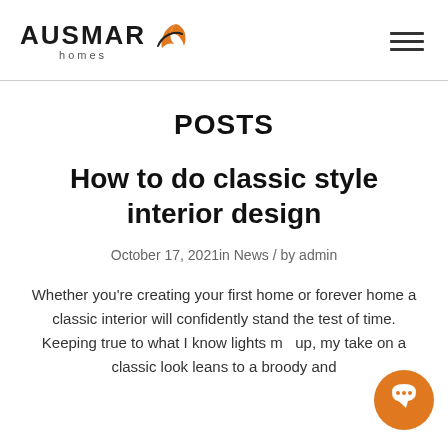AUSMAR homes
POSTS
How to do classic style interior design
October 17, 2021in News / by admin
Whether you're creating your first home or forever home a classic interior will confidently stand the test of time. Keeping true to what I know lights me up, my take on a classic look leans to a broody and